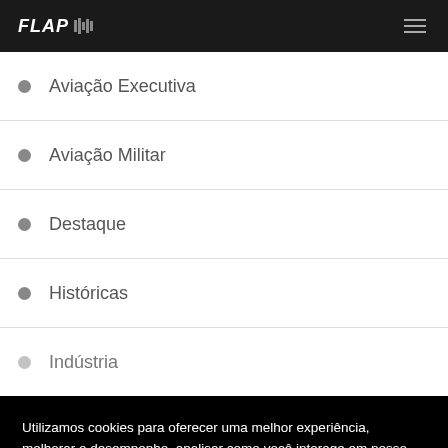FLAP
Aviação Executiva
Aviação Militar
Destaque
Históricas
Indústria
Utilizamos cookies para oferecer uma melhor experiência, melhorar o desempenho, analisar como você interage em nosso site, personalizar o conteúdo e medir a eficácia de nossos anúncios. Ao utilizar este site você concorda com o uso de cookies.
Aceitar